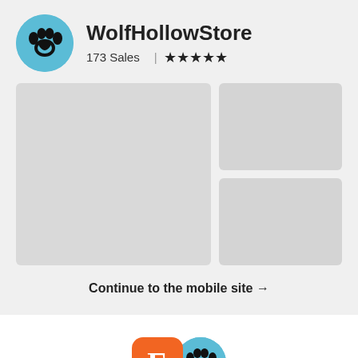WolfHollowStore
173 Sales | ★★★★★
[Figure (screenshot): Three gray placeholder product image boxes arranged in a 2-column grid: one large on the left, two smaller stacked on the right]
Continue to the mobile site →
[Figure (logo): Etsy orange square logo with 'E' next to a circular teal WolfHollowStore paw print avatar]
Shop updates are waiting on the